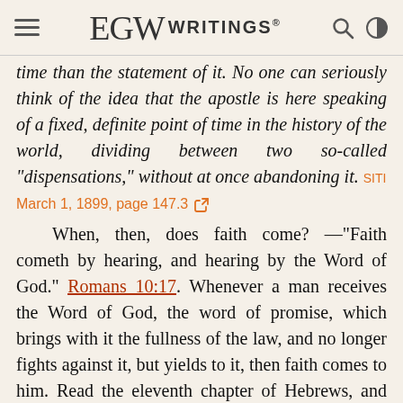EGW WRITINGS®
time than the statement of it. No one can seriously think of the idea that the apostle is here speaking of a fixed, definite point of time in the history of the world, dividing between two so-called "dispensations," without at once abandoning it. SITI March 1, 1899, page 147.3
When, then, does faith come? —"Faith cometh by hearing, and hearing by the Word of God." Romans 10:17. Whenever a man receives the Word of God, the word of promise, which brings with it the fullness of the law, and no longer fights against it, but yields to it, then faith comes to him. Read the eleventh chapter of Hebrews, and you will see that faith came from the beginning. Since the days of Abel, men have found freedom by faith. The only time fixed is